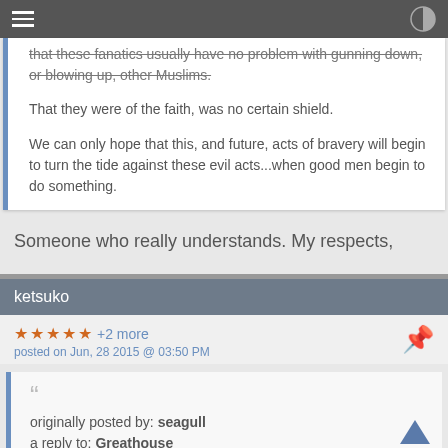that these fanatics usually have no problem with gunning down, or blowing up, other Muslims.

That they were of the faith, was no certain shield.

We can only hope that this, and future, acts of bravery will begin to turn the tide against these evil acts...when good men begin to do something.
Someone who really understands. My respects,
ketsuko
★ ★ ★ ★ ★ +2 more
posted on Jun, 28 2015 @ 03:50 PM
" originally posted by: seagull
a reply to: Greathouse